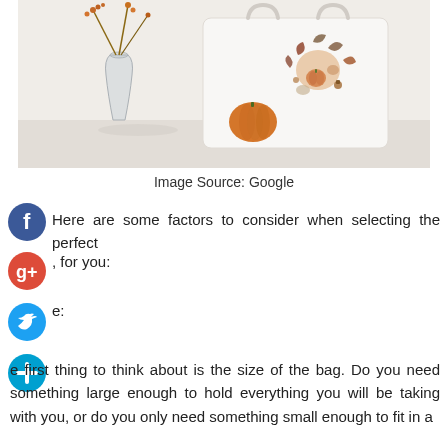[Figure (photo): Photo of a white tote bag with autumn floral design, a glass vase with fall berry branches, and a small orange pumpkin on a white surface.]
Image Source: Google
Here are some factors to consider when selecting the perfect , for you:
e:
e first thing to think about is the size of the bag. Do you need something large enough to hold everything you will be taking with you, or do you only need something small enough to fit in a